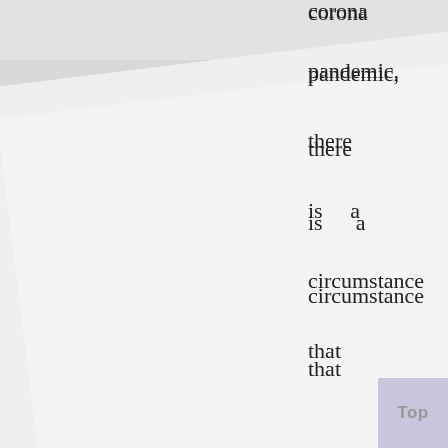[Figure (illustration): A background of overlapping angled light gray panels suggesting a book or document page, with subtle horizontal banding stripes.]
corona pandemic, there is a circumstance that time has revived rather abundantly, and we have
[Figure (other): A 'Top' button in the lower right corner, styled with a light purple/lavender background.]